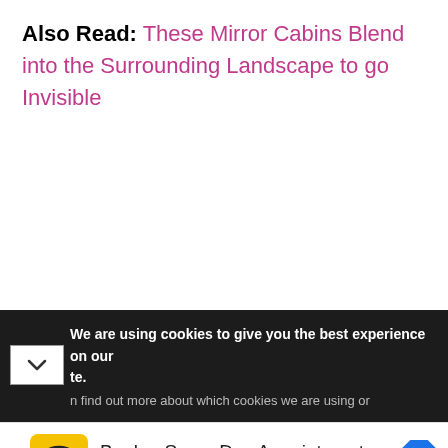Also Read: These Mirror Cabins Blend into the Surrounding Landscape to go Invisible
We are using cookies to give you the best experience on our site. n find out more about which cookies we are using or
[Figure (other): Advertisement banner: Hair Cuttery logo (yellow circle with HC text), text 'Book a Same Day Appointment' and 'Hair Cuttery' with a blue navigation arrow icon]